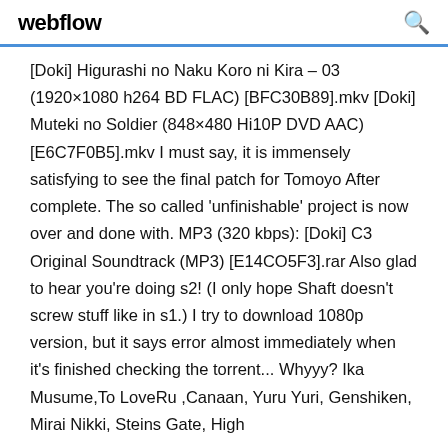webflow
[Doki] Higurashi no Naku Koro ni Kira – 03 (1920×1080 h264 BD FLAC) [BFC30B89].mkv [Doki] Muteki no Soldier (848×480 Hi10P DVD AAC) [E6C7F0B5].mkv I must say, it is immensely satisfying to see the final patch for Tomoyo After complete. The so called 'unfinishable' project is now over and done with. MP3 (320 kbps): [Doki] C3 Original Soundtrack (MP3) [E14CO5F3].rar Also glad to hear you're doing s2! (I only hope Shaft doesn't screw stuff like in s1.) I try to download 1080p version, but it says error almost immediately when it's finished checking the torrent... Whyyy? Ika Musume,To LoveRu ,Canaan, Yuru Yuri, Genshiken, Mirai Nikki, Steins Gate, High